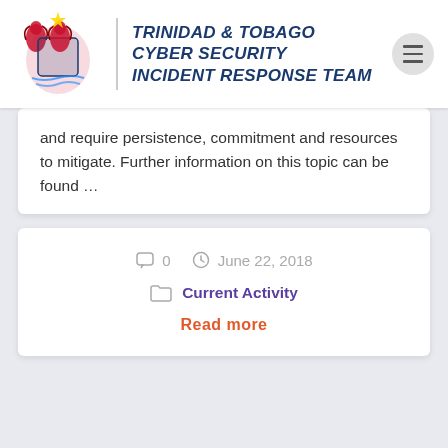TRINIDAD & TOBAGO CYBER SECURITY INCIDENT RESPONSE TEAM
and require persistence, commitment and resources to mitigate. Further information on this topic can be found …
0   June 22, 2018
Current Activity
Read more
Cisco: 2018 Annual